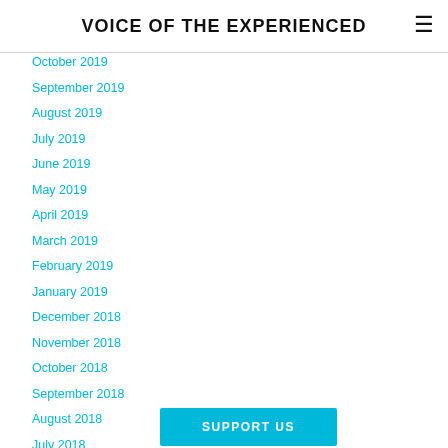VOICE OF THE EXPERIENCED
October 2019
September 2019
August 2019
July 2019
June 2019
May 2019
April 2019
March 2019
February 2019
January 2019
December 2018
November 2018
October 2018
September 2018
August 2018
July 2018
June 2018
SUPPORT US